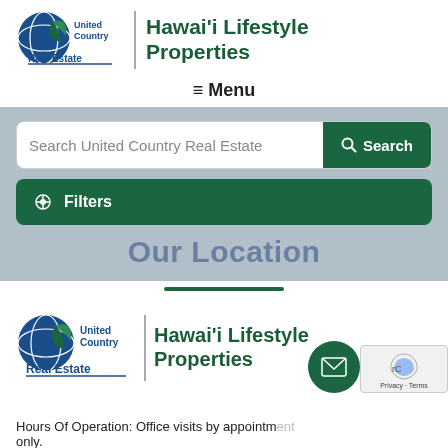[Figure (logo): United Country Real Estate logo with globe icon and Hawaii Lifestyle Properties text]
≡ Menu
[Figure (screenshot): Search bar with 'Search United Country Real Estate' placeholder and green Search button, plus green Filters button, on blue-grey background with 'Our Location' heading text]
[Figure (logo): United Country Real Estate logo with globe icon and Hawaii Lifestyle Properties text (bottom)]
Hours Of Operation: Office visits by appointment only.